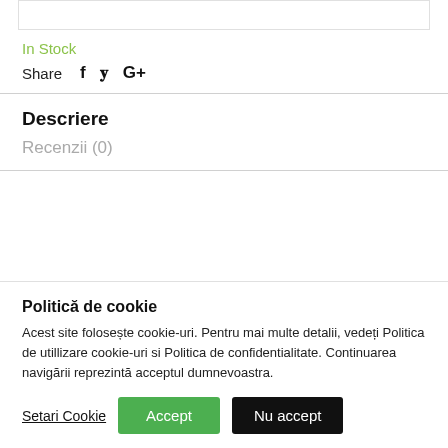In Stock
Share  f  𝐲  G+
Descriere
Recenzii (0)
Politică de cookie
Acest site folosește cookie-uri. Pentru mai multe detalii, vedeți Politica de utillizare cookie-uri si Politica de confidentialitate. Continuarea navigării reprezintă acceptul dumnevoastra.
Setari Cookie  Accept  Nu accept